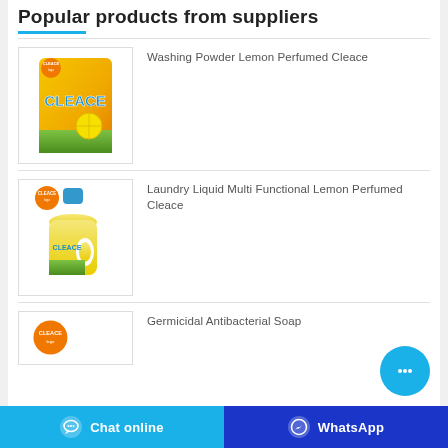Popular products from suppliers
[Figure (photo): Cleace Washing Powder Lemon Perfumed product bag with Cleace logo and lemon image]
Washing Powder Lemon Perfumed Cleace
[Figure (photo): Cleace Laundry Liquid Multi Functional Lemon Perfumed yellow bottle with blue cap]
Laundry Liquid Multi Functional Lemon Perfumed Cleace
[Figure (photo): Cleace brand logo visible, partial view of Germicidal Antibacterial Soap product]
Germicidal Antibacterial Soap
Chat online   WhatsApp